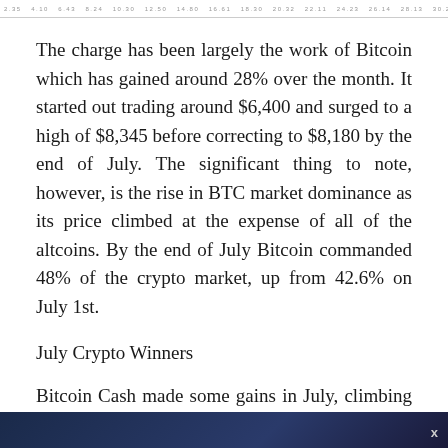2.35  4.10  6.43  8.24  10.30  12.50  14.80  16.61  18.30  20.32  22.11  24.23  26.14  28.13  30.20
The charge has been largely the work of Bitcoin which has gained around 28% over the month. It started out trading around $6,400 and surged to a high of $8,345 before correcting to $8,180 by the end of July. The significant thing to note, however, is the rise in BTC market dominance as its price climbed at the expense of all of the altcoins. By the end of July Bitcoin commanded 48% of the crypto market, up from 42.6% on July 1st.
July Crypto Winners
Bitcoin Cash made some gains in July, climbing around $66 from $750 to $816 over the month. The almost 9% gain follows a month of heavy losses in June for BCH and was likely driven by its big brother’s performance.